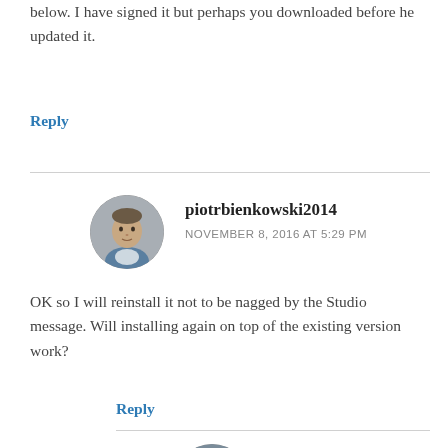below. I have signed it but perhaps you downloaded before he updated it.
Reply
piotrbienkowski2014
NOVEMBER 8, 2016 AT 5:29 PM
OK so I will reinstall it not to be nagged by the Studio message. Will installing again on top of the existing version work?
Reply
paulfilkin